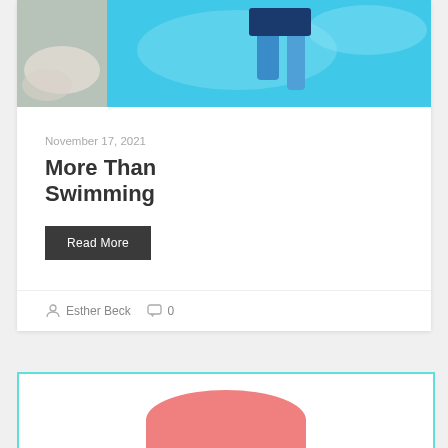[Figure (photo): Swimming pool photo showing a child underwater with bright blue water and pool surroundings]
November 17, 2021
More Than Swimming
Read More
Esther Beck  0
[Figure (photo): Partial view of a pink/coral colored swimming float or object against white background, card has teal border]